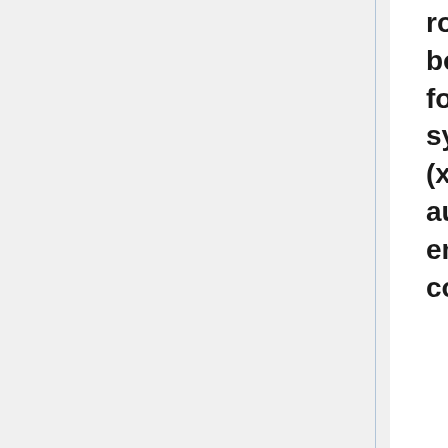root filesystem, a kernel image and a bootloader image. Buildroot is useful mainly for people working with small or embedded systems, using various CPU architectures (x86, ARM, MIPS, PowerPC, etc.) : it automates the building process of your embedded system and eases the cross-compilation process.
The resulting root filesystem is mounted read-only, but other filesystems can be mounted read/write for persistence. Although user accounts can be created, in practice almost everything is done as root. Buildroot uses no package manager. Instead, package selection is managed through make menuconfig.